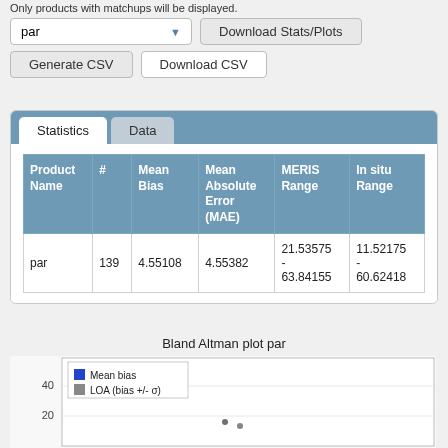Only products with matchups will be displayed.
[Figure (screenshot): UI controls: dropdown selector showing 'par' with blue arrow, 'Download Stats/Plots' button, 'Generate CSV' button, 'Download CSV' button]
| Product Name | # | Mean Bias | Mean Absolute Error (MAE) | MERIS Range | In situ Range |
| --- | --- | --- | --- | --- | --- |
| par | 139 | 4.55108 | 4.55382 | 21.53575 - 63.84155 | 11.52175 - 60.62418 |
Bland Altman plot par
[Figure (continuous-plot): Bland Altman plot for 'par'. Y-axis shows values up to 40 and 20 visible. Legend shows: Mean bias (blue square), LOA (bias +/- σ) (gray square). Scatter plot with points visible near y=20 region.]